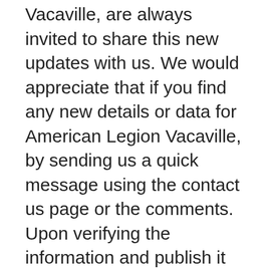Vacaville, are always invited to share this new updates with us. We would appreciate that if you find any new details or data for American Legion Vacaville, by sending us a quick message using the contact us page or the comments. Upon verifying the information and publish it accordingly for the benefits of all users, for free.
Veterans-resources.com is a high-quality website that has no direct affiliation with American Legion Vacaville, any veterans institutions, or any federal or state department, agency, office, board, or